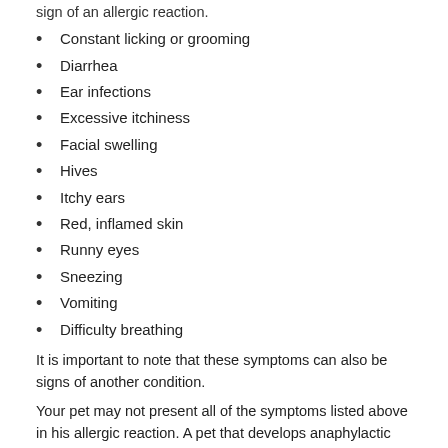sign of an allergic reaction.
Constant licking or grooming
Diarrhea
Ear infections
Excessive itchiness
Facial swelling
Hives
Itchy ears
Red, inflamed skin
Runny eyes
Sneezing
Vomiting
Difficulty breathing
It is important to note that these symptoms can also be signs of another condition.
Your pet may not present all of the symptoms listed above in his allergic reaction. A pet that develops anaphylactic shock from a food allergy will display different symptoms from a pet with a flea allergy.